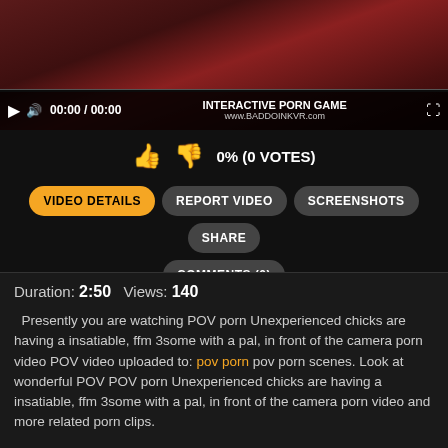[Figure (screenshot): Video player showing adult content thumbnail with dark red/pink tones]
0% (0 VOTES)
VIDEO DETAILS
REPORT VIDEO
SCREENSHOTS
SHARE
COMMENTS (0)
Duration: 2:50   Views: 140
Presently you are watching POV porn Unexperienced chicks are having a insatiable, ffm 3some with a pal, in front of the camera porn video POV video uploaded to: pov porn pov porn scenes. Look at wonderful POV POV porn Unexperienced chicks are having a insatiable, ffm 3some with a pal, in front of the camera porn video and more related porn clips.
#povporn #pov #porn #having #a #ffm #3some #front #camera #video